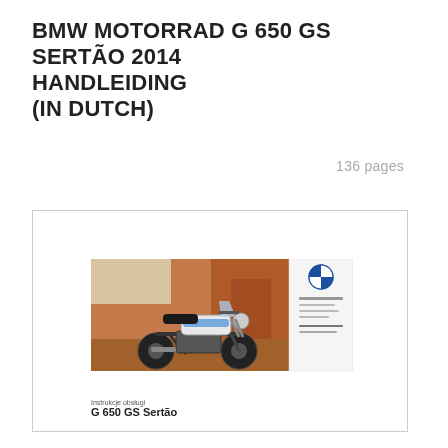BMW MOTORRAD G 650 GS SERTÃO 2014 HANDLEIDING (IN DUTCH)
136 pages
[Figure (photo): Preview thumbnail of the BMW G 650 GS Sertão owner's manual cover, showing a motorcycle on rocky terrain with the BMW logo and text 'Instrukcje obsługi G 650 GS Sertão']